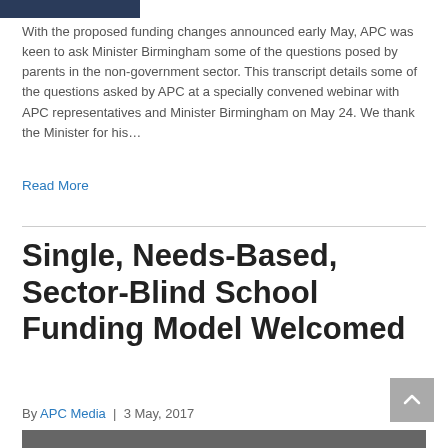[Figure (photo): Partial photo visible at top of page, dark tones]
With the proposed funding changes announced early May, APC was keen to ask Minister Birmingham some of the questions posed by parents in the non-government sector. This transcript details some of the questions asked by APC at a specially convened webinar with APC representatives and Minister Birmingham on May 24. We thank the Minister for his...
Read More
Single, Needs-Based, Sector-Blind School Funding Model Welcomed
By APC Media | 3 May, 2017
[Figure (photo): Partial photo visible at bottom of page, dark tones]